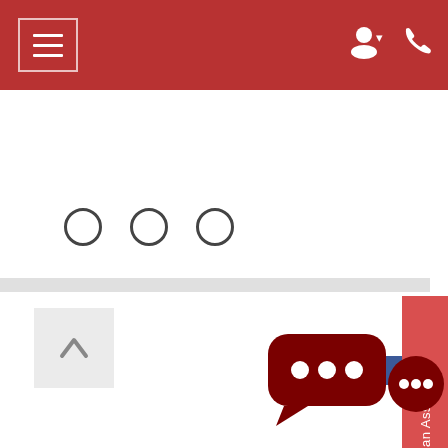[Figure (screenshot): Red navigation bar with hamburger menu icon on the left (three horizontal lines in a bordered box) and user account icon with dropdown arrow and phone icon on the right]
[Figure (screenshot): Three empty circle dots used as carousel/step indicators]
[Figure (screenshot): Red vertical tab on the right side reading 'Floor Plan Assistant' rotated 90 degrees, with a partially visible Facebook share button]
[Figure (screenshot): Back to top arrow button (light gray square with upward arrow) in the lower left corner]
[Figure (screenshot): Dark red chat widget with two speech bubbles containing ellipsis dots in the lower right corner]